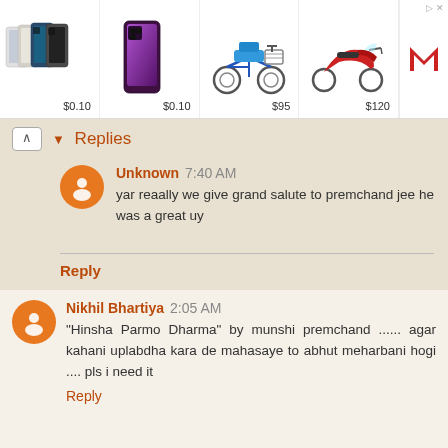[Figure (screenshot): Ad banner with product images: iPhone models at $0.10, iPhone 13 Pro at $0.10, electric scooter at $95, red scooter at $120, and a logo]
▼ Replies
Unknown 7:40 AM
yar reaally we give grand salute to premchand jee he was a great uy
Reply
Nikhil Bhartiya 2:05 AM
"Hinsha Parmo Dharma" by munshi premchand ...... agar kahani uplabdha kara de mahasaye to abhut meharbani hogi .... pls i need it
Reply